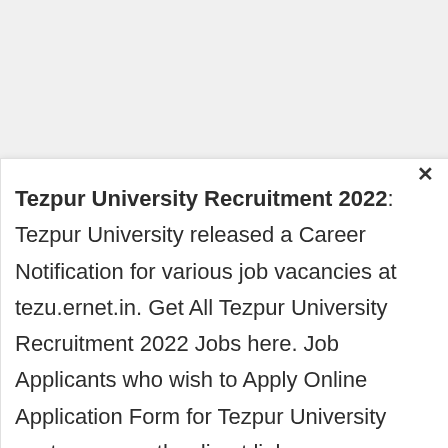Tezpur University Recruitment 2022: Tezpur University released a Career Notification for various job vacancies at tezu.ernet.in. Get All Tezpur University Recruitment 2022 Jobs here. Job Applicants who wish to Apply Online Application Form for Tezpur University posts can use the direct link.